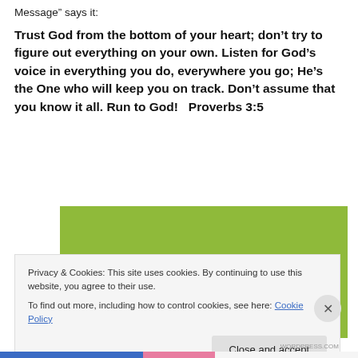Message" says it:
Trust God from the bottom of your heart; don’t try to figure out everything on your own. Listen for God’s voice in everything you do, everywhere you go; He’s the One who will keep you on track. Don’t assume that you know it all. Run to God!   Proverbs 3:5
[Figure (illustration): Green/olive colored rectangular image block]
Privacy & Cookies: This site uses cookies. By continuing to use this website, you agree to their use.
To find out more, including how to control cookies, see here: Cookie Policy
Close and accept